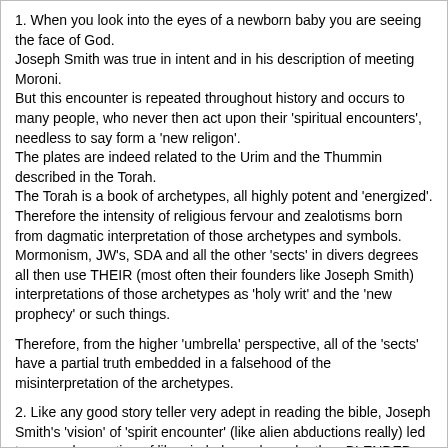1. When you look into the eyes of a newborn baby you are seeing the face of God.
Joseph Smith was true in intent and in his description of meeting Moroni.
But this encounter is repeated throughout history and occurs to many people, who never then act upon their 'spiritual encounters', needless to say form a 'new religon'.
The plates are indeed related to the Urim and the Thummin described in the Torah.
The Torah is a book of archetypes, all highly potent and 'energized'.
Therefore the intensity of religious fervour and zealotisms born from dagmatic interpretation of those archetypes and symbols.
Mormonism, JW's, SDA and all the other 'sects' in divers degrees all then use THEIR (most often their founders like Joseph Smith) interpretations of those archetypes as 'holy writ' and the 'new prophecy' or such things.
Therefore, from the higher 'umbrella' perspective, all of the 'sects' have a partial truth embedded in a falsehood of the misinterpretation of the archetypes.
2. Like any good story teller very adept in reading the bible, Joseph Smith's 'vision' of 'spirit encounter' (like alien abductions really) led to a conglomeration of likeminded peoples, who then BLENDED the OT with the 'Lost Tribes' (also prevalent in British Israelitism) and wrote the Book of Mormon.
3. Jesus IS the head of the Amazon tribe, who have never even heared the name 'Jesus'. So Jesus is the head of every church or